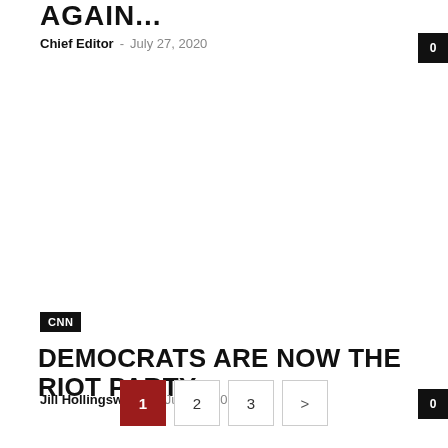AGAIN...
Chief Editor - July 27, 2020
CNN
DEMOCRATS ARE NOW THE RIOT PARTY
Jill Hollingsworth - July 27, 2020
1 2 3 >